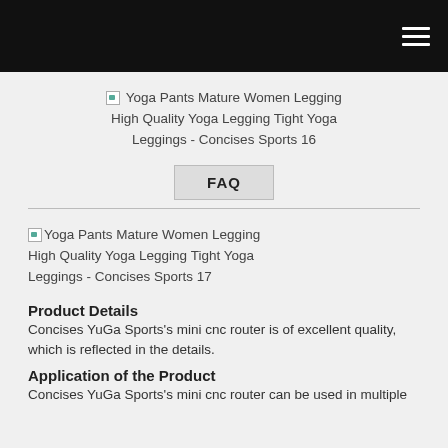[Figure (other): Broken image placeholder with alt text: Yoga Pants Mature Women Legging High Quality Yoga Legging Tight Yoga Leggings - Concises Sports 16]
[Figure (other): FAQ button]
[Figure (other): Broken image placeholder with alt text: Yoga Pants Mature Women Legging High Quality Yoga Legging Tight Yoga Leggings - Concises Sports 17]
Product Details
Concises YuGa Sports's mini cnc router is of excellent quality, which is reflected in the details.
Application of the Product
Concises YuGa Sports's mini cnc router can be used in multiple